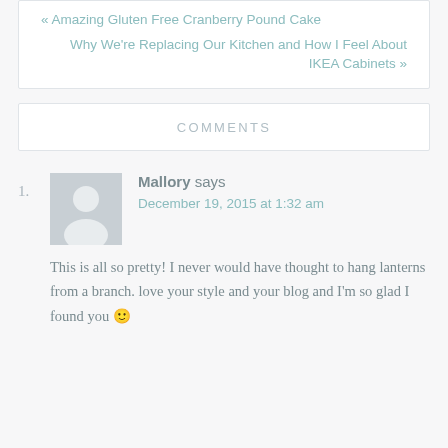« Amazing Gluten Free Cranberry Pound Cake
Why We're Replacing Our Kitchen and How I Feel About IKEA Cabinets »
COMMENTS
Mallory says
December 19, 2015 at 1:32 am
This is all so pretty! I never would have thought to hang lanterns from a branch. love your style and your blog and I'm so glad I found you 🙂